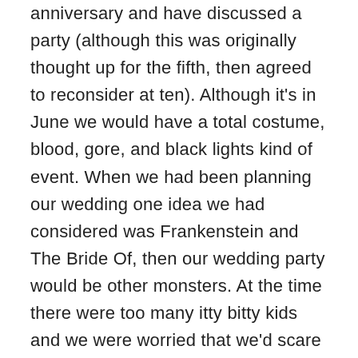anniversary and have discussed a party (although this was originally thought up for the fifth, then agreed to reconsider at ten). Although it's in June we would have a total costume, blood, gore, and black lights kind of event. When we had been planning our wedding one idea we had considered was Frankenstein and The Bride Of, then our wedding party would be other monsters. At the time there were too many itty bitty kids and we were worried that we'd scare them, so it got set aside, and then Larry won the debate for a traditional wedding. When we thought of the anniversary party we found some Halloween and movie prop supply stores that have some awesome dismemberments, packaged body parts, and what not. The person being electrocuted is out of our budget though, sadly. *laugh* A severed hand holding the knife for the vegetable spread on the buffet, a coffin that people can get into and take pictures in, and even a box of